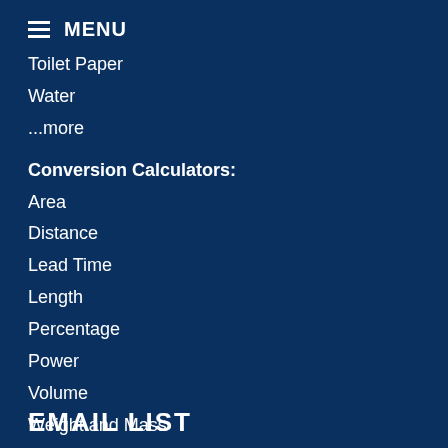≡ MENU
Toilet Paper
Water
...more
Conversion Calculators:
Area
Distance
Lead Time
Length
Percentage
Power
Volume
Weight and Mass
...more
EMAIL LIST